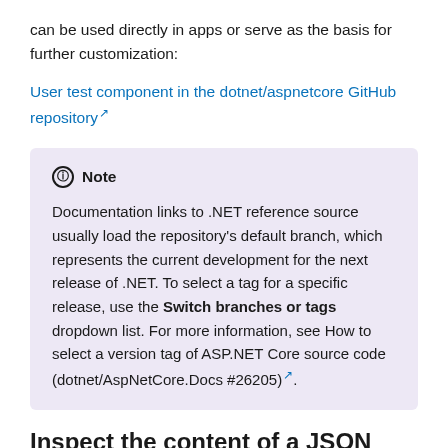can be used directly in apps or serve as the basis for further customization:
User test component in the dotnet/aspnetcore GitHub repository
Note

Documentation links to .NET reference source usually load the repository’s default branch, which represents the current development for the next release of .NET. To select a tag for a specific release, use the Switch branches or tags dropdown list. For more information, see How to select a version tag of ASP.NET Core source code (dotnet/AspNetCore.Docs #26205).
Inspect the content of a JSON Web Token